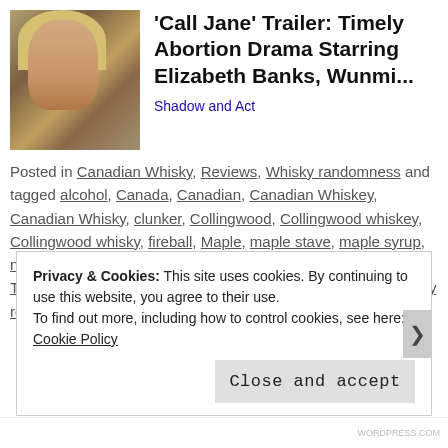[Figure (photo): Thumbnail photo of a blonde woman looking to the side, from the film 'Call Jane']
'Call Jane' Trailer: Timely Abortion Drama Starring Elizabeth Banks, Wunmi...
Shadow and Act
Posted in Canadian Whisky, Reviews, Whisky randomness and tagged alcohol, Canada, Canadian, Canadian Whiskey, Canadian Whisky, clunker, Collingwood, Collingwood whiskey, Collingwood whisky, fireball, Maple, maple stave, maple syrup, news, old fashioned, opinion, review, Rye, Sweet, tasting, Tasting notes, toasted, waffles, whiskey, whiskey review, Whisky review, Whisky Waffle on October 10, 2018. 4 Comments
Privacy & Cookies: This site uses cookies. By continuing to use this website, you agree to their use.
To find out more, including how to control cookies, see here: Cookie Policy
Close and accept